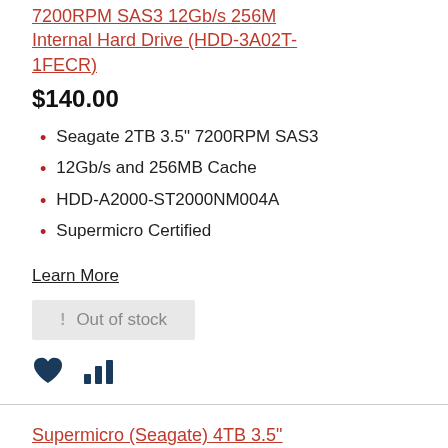7200RPM SAS3 12Gb/s 256M Internal Hard Drive (HDD-3A02T-1FECR)
$140.00
Seagate 2TB 3.5" 7200RPM SAS3
12Gb/s and 256MB Cache
HDD-A2000-ST2000NM004A
Supermicro Certified
Learn More
Out of stock
Supermicro (Seagate) 4TB 3.5" 7200RPM SAS3 12Gb/s 256M